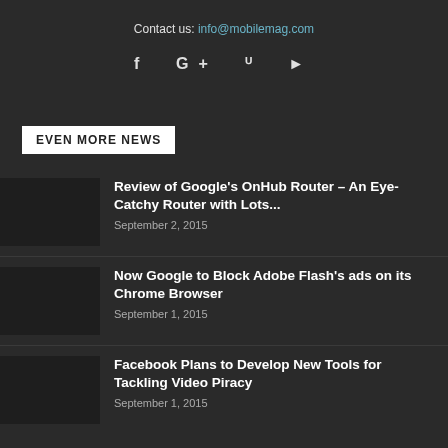Contact us: info@mobilemag.com
[Figure (infographic): Social media icons: Facebook (f), Google+ (G+), Twitter (bird), YouTube (play button)]
EVEN MORE NEWS
Review of Google's OnHub Router – An Eye-Catchy Router with Lots...
September 2, 2015
Now Google to Block Adobe Flash's ads on its Chrome Browser
September 1, 2015
Facebook Plans to Develop New Tools for Tackling Video Piracy
September 1, 2015